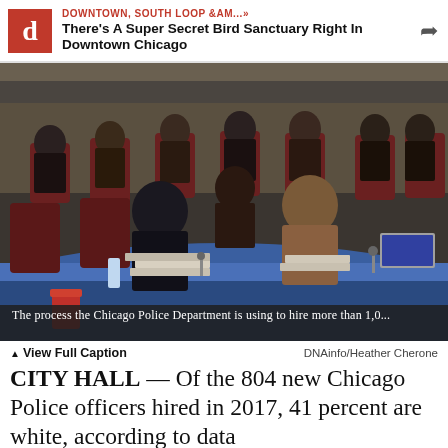DOWNTOWN, SOUTH LOOP &AM...» There's A Super Secret Bird Sanctuary Right In Downtown Chicago
[Figure (photo): City council chamber scene with officials and attendees seated at a curved blue table and red upholstered chairs in a formal meeting room]
The process the Chicago Police Department is using to hire more than 1,0...
▲ View Full Caption   DNAinfo/Heather Cherone
CITY HALL — Of the 804 new Chicago Police officers hired in 2017, 41 percent are white, according to data